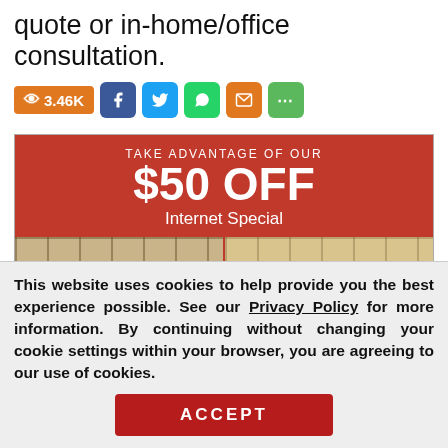quote or in-home/office consultation.
[Figure (infographic): Social share bar with view count 3.46K, Facebook, Twitter, WhatsApp, Email, and More buttons]
[Figure (infographic): Red advertisement banner: TAKE ADVANTAGE OF OUR $50 OFF Internet Special, with before/after tile images and a Request a Free button]
This website uses cookies to help provide you the best experience possible. See our Privacy Policy for more information. By continuing without changing your cookie settings within your browser, you are agreeing to our use of cookies.
ACCEPT